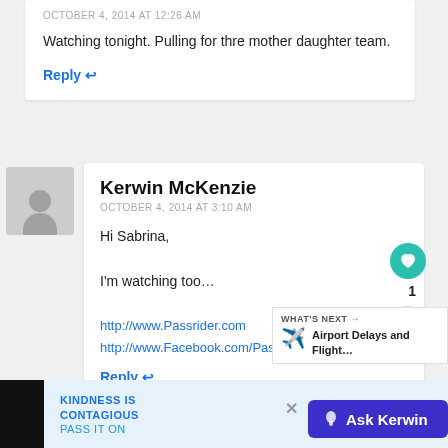OCTOBER 4, 2014 AT 12:26 AM
Watching tonight. Pulling for thre mother daughter team.
Reply ↩
Kerwin McKenzie
OCTOBER 4, 2014 AT 3:10 AM
Hi Sabrina,

I'm watching too…

http://www.Passrider.com
http://www.Facebook.com/Pass...
Reply ↩
KINDNESS IS CONTAGIOUS PASS IT ON
Ask Kerwin